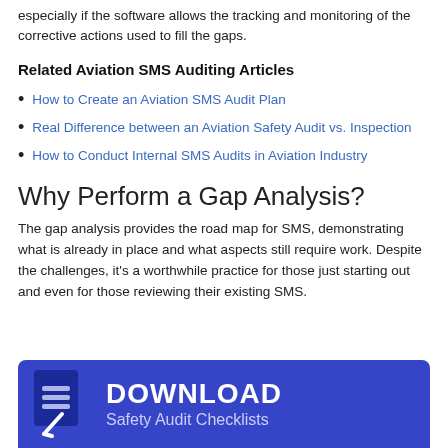especially if the software allows the tracking and monitoring of the corrective actions used to fill the gaps.
Related Aviation SMS Auditing Articles
How to Create an Aviation SMS Audit Plan
Real Difference between an Aviation Safety Audit vs. Inspection
How to Conduct Internal SMS Audits in Aviation Industry
Why Perform a Gap Analysis?
The gap analysis provides the road map for SMS, demonstrating what is already in place and what aspects still require work. Despite the challenges, it's a worthwhile practice for those just starting out and even for those reviewing their existing SMS.
[Figure (infographic): Blue download banner with clipboard icon, text reading DOWNLOAD Safety Audit Checklists]